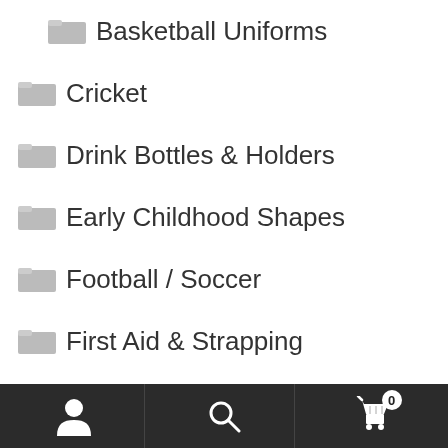Basketball Uniforms
Cricket
Drink Bottles & Holders
Early Childhood Shapes
Football / Soccer
First Aid & Strapping
Goal Post Pads
Goals
Gymnastics
Hockey
Juggling
Kits
Ki-O-Rahi
User | Search | Cart (0)